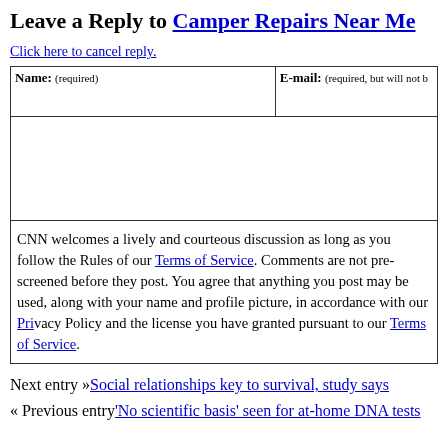Leave a Reply to Camper Repairs Near Me
Click here to cancel reply.
| Name: (required) | E-mail: (required, but will not be published) |
| --- | --- |
|  |  |
CNN welcomes a lively and courteous discussion as long as you follow the Rules of our Terms of Service. Comments are not pre-screened before they post. You agree that anything you post may be used, along with your name and profile picture, in accordance with our Privacy Policy and the license you have granted pursuant to our Terms of Service.
Next entry »Social relationships key to survival, study says
« Previous entry'No scientific basis' seen for at-home DNA tests